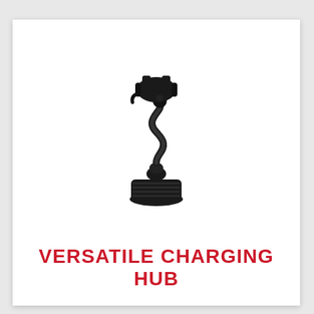[Figure (photo): A black car cup holder phone mount with flexible gooseneck arm and cradle-style phone holder at the top, photographed against a white background.]
VERSATILE CHARGING HUB